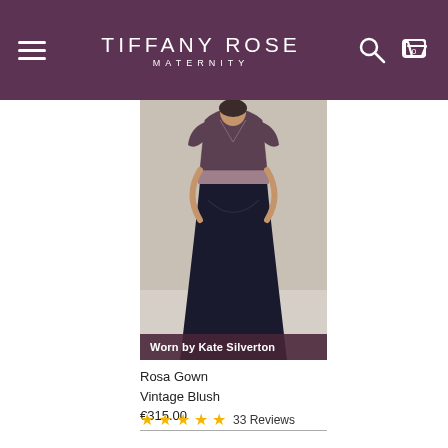TIFFANY ROSE MATERNITY
[Figure (photo): A woman wearing the Rosa Gown in Vintage Blush — a long dark navy/black pleated maternity gown with lace bodice and a blush/mauve sash, photographed full-length. Overlay text: 'Worn by Kate Silverton']
Rosa Gown
Vintage Blush
€315.00
★★★★★ 33 Reviews